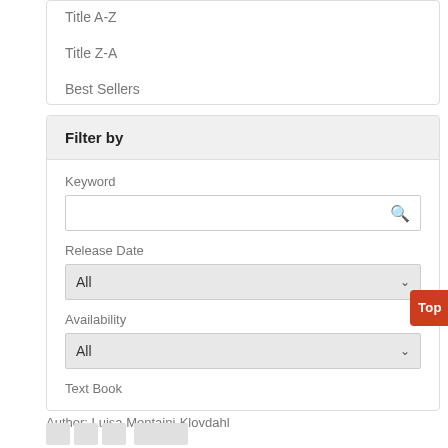Title A-Z
Title Z-A
Best Sellers
Filter by
Keyword
Release Date
All
Availability
All
Text Book
Top
Author: Luisa Montaini-Klovdahl